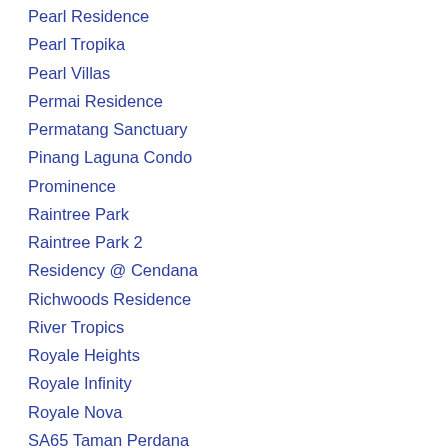Pearl Residence
Pearl Tropika
Pearl Villas
Permai Residence
Permatang Sanctuary
Pinang Laguna Condo
Prominence
Raintree Park
Raintree Park 2
Residency @ Cendana
Richwoods Residence
River Tropics
Royale Heights
Royale Infinity
Royale Nova
SA65 Taman Perdana
Sanctuary Garden
Sanctuary Villa